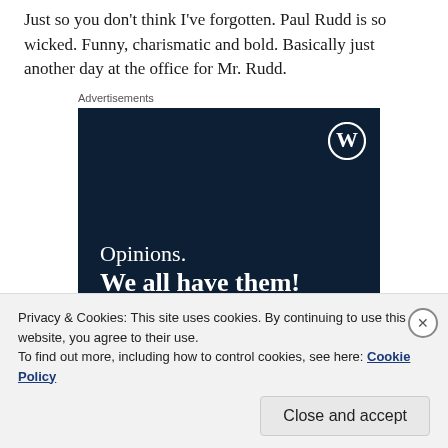Just so you don't think I've forgotten. Paul Rudd is so wicked. Funny, charismatic and bold. Basically just another day at the office for Mr. Rudd.
[Figure (screenshot): Dark navy blue advertisement banner for WordPress with white WordPress logo (W in circle) in top right, text reading 'Opinions. We all have them!' in white serif font on dark background.]
Privacy & Cookies: This site uses cookies. By continuing to use this website, you agree to their use. To find out more, including how to control cookies, see here: Cookie Policy